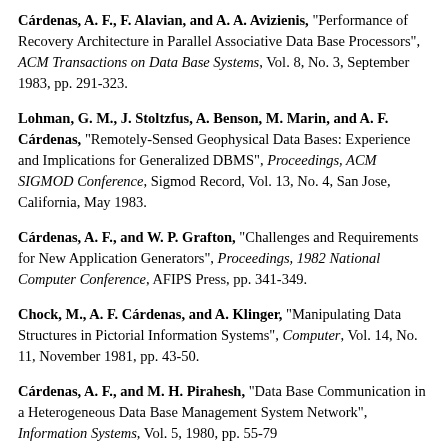Cárdenas, A. F., F. Alavian, and A. A. Avizienis, "Performance of Recovery Architecture in Parallel Associative Data Base Processors", ACM Transactions on Data Base Systems, Vol. 8, No. 3, September 1983, pp. 291-323.
Lohman, G. M., J. Stoltzfus, A. Benson, M. Marin, and A. F. Cárdenas, "Remotely-Sensed Geophysical Data Bases: Experience and Implications for Generalized DBMS", Proceedings, ACM SIGMOD Conference, Sigmod Record, Vol. 13, No. 4, San Jose, California, May 1983.
Cárdenas, A. F., and W. P. Grafton, "Challenges and Requirements for New Application Generators", Proceedings, 1982 National Computer Conference, AFIPS Press, pp. 341-349.
Chock, M., A. F. Cárdenas, and A. Klinger, "Manipulating Data Structures in Pictorial Information Systems", Computer, Vol. 14, No. 11, November 1981, pp. 43-50.
Cárdenas, A. F., and M. H. Pirahesh, "Data Base Communication in a Heterogeneous Data Base Management System Network", Information Systems, Vol. 5, 1980, pp. 55-79
Morgan, H., A. F. Cárdenas, W. Chu, E. F. Codd, G. Dodd, D. Hsiao, et. al., "Data Base Management Systems", in B. W. Arden